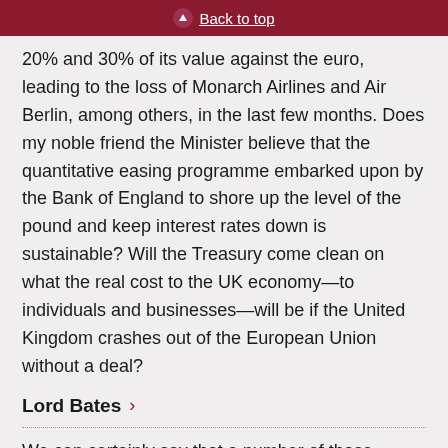Back to top
20% and 30% of its value against the euro, leading to the loss of Monarch Airlines and Air Berlin, among others, in the last few months. Does my noble friend the Minister believe that the quantitative easing programme embarked upon by the Bank of England to shore up the level of the pound and keep interest rates down is sustainable? Will the Treasury come clean on what the real cost to the UK economy—to individuals and businesses—will be if the United Kingdom crashes out of the European Union without a deal?
Lord Bates
We can certainly say that a number of those